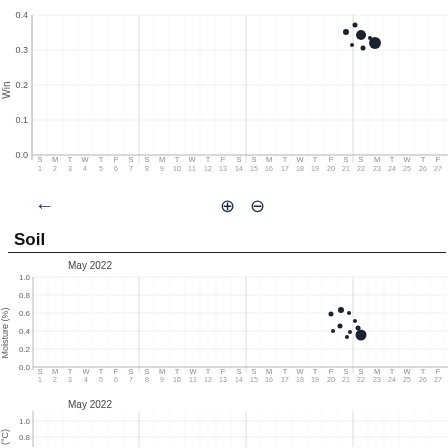[Figure (continuous-plot): Top scatter plot (partially visible, cropped at top) showing wind data for May 2022. Y-axis labeled 'Win' (truncated), range 0.0 to 0.4+. X-axis shows days S M T W T F S repeated, numbered 1-27. Cluster of dots visible near days 21-23 at y~0.3-0.4.]
[Figure (continuous-plot): Navigation row with left arrow icon and zoom-in/zoom-out magnifier icons.]
Soil
[Figure (continuous-plot): Scatter plot titled 'May 2022'. Y-axis labeled 'Moisture (%)' ranging 0.0 to 1.0. X-axis shows days S M T W T F S repeated, numbered 1-27. Cluster of dots near days 20-23 at y~0.4-0.6.]
[Figure (continuous-plot): Scatter plot titled 'May 2022' (partially visible at bottom). Y-axis labeled with degree symbol (°C), truncated. Range 0.0-1.0 visible. No data points visible.]